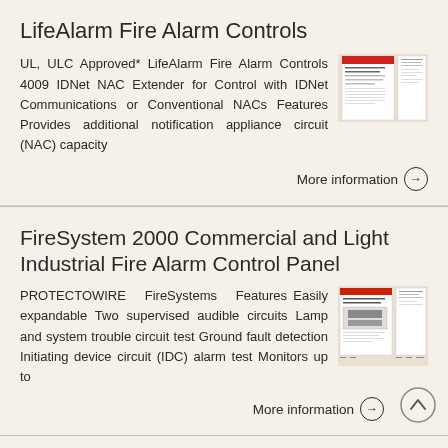LifeAlarm Fire Alarm Controls
UL, ULC Approved* LifeAlarm Fire Alarm Controls 4009 IDNet NAC Extender for Control with IDNet Communications or Conventional NACs Features Provides additional notification appliance circuit (NAC) capacity
[Figure (photo): Thumbnail image of LifeAlarm Fire Alarm Controls product document]
More information
FireSystem 2000 Commercial and Light Industrial Fire Alarm Control Panel
PROTECTOWIRE FireSystems Features Easily expandable Two supervised audible circuits Lamp and system trouble circuit test Ground fault detection Initiating device circuit (IDC) alarm test Monitors up to
[Figure (photo): Thumbnail image of FireSystem 2000 product document]
More information